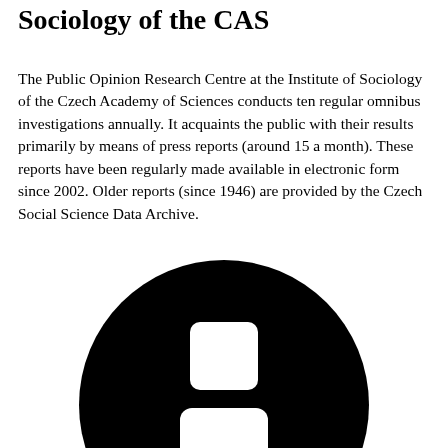Sociology of the CAS
The Public Opinion Research Centre at the Institute of Sociology of the Czech Academy of Sciences conducts ten regular omnibus investigations annually. It acquaints the public with their results primarily by means of press reports (around 15 a month). These reports have been regularly made available in electronic form since 2002. Older reports (since 1946) are provided by the Czech Social Science Data Archive.
[Figure (logo): Black circle logo with a white letter 'i' (information symbol) consisting of a rounded square dot on top and a rectangular bar with rounded bottom below, centered within the circle.]